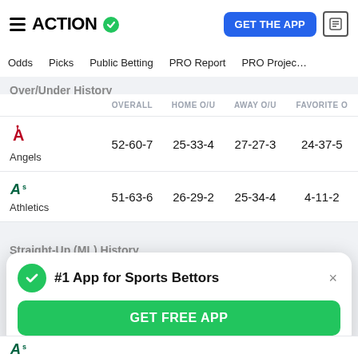ACTION — GET THE APP
Odds | Picks | Public Betting | PRO Report | PRO Projec…
Over/Under History
|  | OVERALL | HOME O/U | AWAY O/U | FAVORITE O/U |
| --- | --- | --- | --- | --- |
| Angels | 52-60-7 | 25-33-4 | 27-27-3 | 24-37-5… |
| Athletics | 51-63-6 | 26-29-2 | 25-34-4 | 4-11-2 |
Straight-Up (ML) History
#1 App for Sports Bettors
GET FREE APP